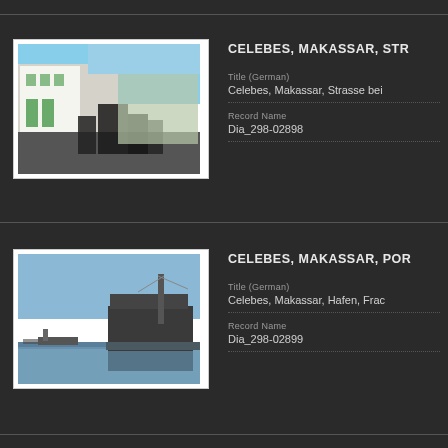[Figure (photo): Street scene in Makassar, Celebes. Buildings with green doors visible, people and a horse-drawn cart on the street.]
CELEBES, MAKASSAR, STR...
Title (German)
Celebes, Makassar, Strasse bei...
Record Name
Dia_298-02898
[Figure (photo): Harbor scene in Makassar, Celebes. A large ship docked at a port, calm water, blue sky.]
CELEBES, MAKASSAR, POR...
Title (German)
Celebes, Makassar, Hafen, Frac...
Record Name
Dia_298-02899